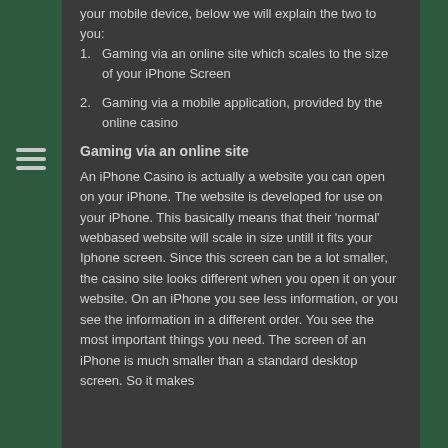your mobile device, below we will explain the two to you:
1. Gaming via an online site which scales to the size of your iPhone Screen
2. Gaming via a mobile application, provided by the online casino
Gaming via an online site
An iPhone Casino is actually a website you can open on your iPhone. The website is developed for use on your iPhone. This basically means that their 'normal' webbased website will scale in size untill it fits your Iphone screen. Since this screen can be a lot smaller, the casino site looks different when you open it on your website. On an iPhone you see less information, or you see the information in a different order. You see the most important things you need. The screen of an iPhone is much smaller than a standard desktop screen. So it makes